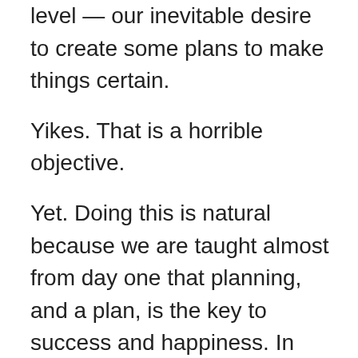level — our inevitable desire to create some plans to make things certain.
Yikes. That is a horrible objective.
Yet. Doing this is natural because we are taught almost from day one that planning, and a plan, is the key to success and happiness. In other words this suggests we can … uhm … plan for certainty.
That seems kinda crazy.
Shit.